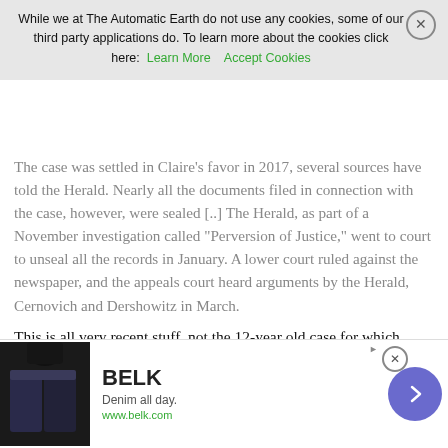The case was settled in Claire's favor in 2017, several sources have told the Herald. Nearly all the documents filed in connection with the case, however, were sealed [..] The Herald, as part of a November investigation called "Perversion of Justice," went to court to unseal all the records in January. A lower court ruled against the newspaper, and the appeals court heard arguments by the Herald, Cernovich and Dershowitz in March.
This is all very recent stuff, not the 12-year old case for which Epstein settled in 2008. That doesn't seem to bode well for him.
In its decision, the U.S. Court of Appeals for the Second Circuit ruled that a lower district court erred when it issued a blanket sealing of the case, which essentially allowed all the parties to file everything under wraps.“The District Court failed to review the documents
[Figure (screenshot): Cookie consent banner overlay: 'While we at The Automatic Earth do not use any cookies, some of our third party applications do. To learn more about the cookies click here: Learn More  Accept Cookies' with a close (X) button.]
[Figure (screenshot): BELK advertisement banner at the bottom: shows denim clothing photo, brand name BELK, tagline 'Denim all day.', URL www.belk.com, with a purple circular arrow button and close X button.]